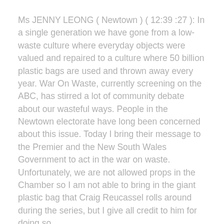Ms JENNY LEONG ( Newtown ) ( 12:39 :27 ): In a single generation we have gone from a low-waste culture where everyday objects were valued and repaired to a culture where 50 billion plastic bags are used and thrown away every year. War On Waste, currently screening on the ABC, has stirred a lot of community debate about our wasteful ways. People in the Newtown electorate have long been concerned about this issue. Today I bring their message to the Premier and the New South Wales Government to act in the war on waste. Unfortunately, we are not allowed props in the Chamber so I am not able to bring in the giant plastic bag that Craig Reucassel rolls around during the series, but I give all credit to him for doing so.
Our community would like to know from the Premier why we have not yet banned the single-use plastic bag. It takes thousands of years for plastic bags to degrade, which means that every piece of plastic manufactured exists to this day. It is time for the New South Wales Government to ban the bag. While we are waiting, Newtown locals are encouraging people